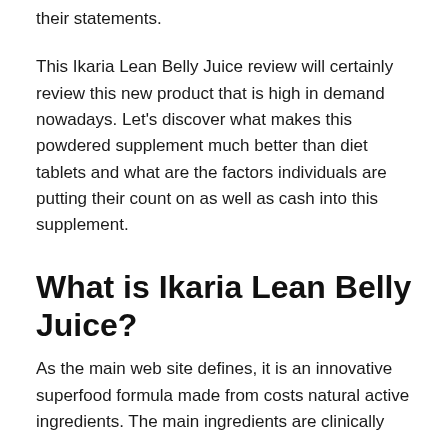their statements.
This Ikaria Lean Belly Juice review will certainly review this new product that is high in demand nowadays. Let’s discover what makes this powdered supplement much better than diet tablets and what are the factors individuals are putting their count on as well as cash into this supplement.
What is Ikaria Lean Belly Juice?
As the main web site defines, it is an innovative superfood formula made from costs natural active ingredients. The main ingredients are clinically...